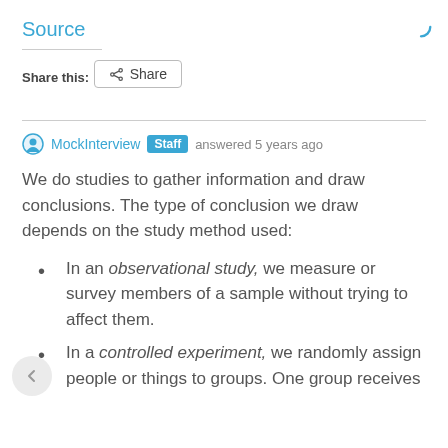Source
Share this:
Share
MockInterview  Staff  answered 5 years ago
We do studies to gather information and draw conclusions. The type of conclusion we draw depends on the study method used:
In an observational study, we measure or survey members of a sample without trying to affect them.
In a controlled experiment, we randomly assign people or things to groups. One group receives